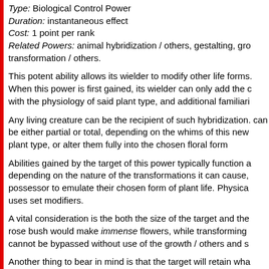Type: Biological Control Power
Duration: instantaneous effect
Cost: 1 point per rank
Related Powers: animal hybridization / others, gestalting, gro transformation / others.
This potent ability allows its wielder to modify other life forms. When this power is first gained, its wielder can only add the c with the physiology of said plant type, and additional familiari
Any living creature can be the recipient of such hybridization. can be either partial or total, depending on the whims of this new plant type, or alter them fully into the chosen floral form
Abilities gained by the target of this power typically function a depending on the nature of the transformations it can cause, possessor to emulate their chosen form of plant life. Physica uses set modifiers.
A vital consideration is the both the size of the target and the rose bush would make immense flowers, while transforming cannot be bypassed without use of the growth / others and s
Another thing to bear in mind is that the target will retain wha would normally be different in its final form. Changing a man stalk poisonous thorns wouldn't cause much of a net change
Wielding plant hybridization / others requires physical contac